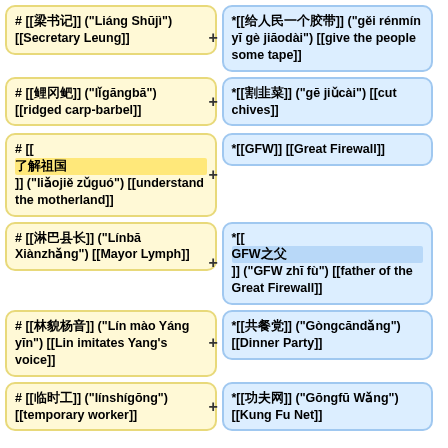# [[梁书记]] ("Liáng Shūjì") [[Secretary Leung]]
*[[给人民一个胶带]] ("gěi rénmín yī gè jiāodài") [[give the people some tape]]
# [[鲤冈鲃]] ("lǐgāngbā") [[ridged carp-barbel]]
*[[割韭菜]] ("gē jiǔcài") [[cut chives]]
# [[了解祖国]] ("liǎojiě zǔguó") [[understand the motherland]]
*[[GFW]] [[Great Firewall]]
# [[淋巴县长]] ("Línbā Xiànzhǎng") [[Mayor Lymph]]
*[[GFW之父]] ("GFW zhī fù") [[father of the Great Firewall]]
# [[林貌杨音]] ("Lín mào Yáng yīn") [[Lin imitates Yang's voice]]
*[[共餐党]] ("Gòngcāndǎng") [[Dinner Party]]
# [[临时工]] ("línshígōng") [[temporary worker]]
*[[功夫网]] ("Gōngfū Wǎng") [[Kung Fu Net]]